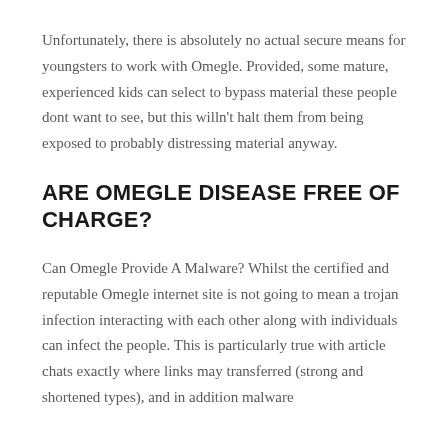Unfortunately, there is absolutely no actual secure means for youngsters to work with Omegle. Provided, some mature, experienced kids can select to bypass material these people dont want to see, but this willn't halt them from being exposed to probably distressing material anyway.
ARE OMEGLE DISEASE FREE OF CHARGE?
Can Omegle Provide A Malware? Whilst the certified and reputable Omegle internet site is not going to mean a trojan infection interacting with each other along with individuals can infect the people. This is particularly true with article chats exactly where links may transferred (strong and shortened types), and in addition malware